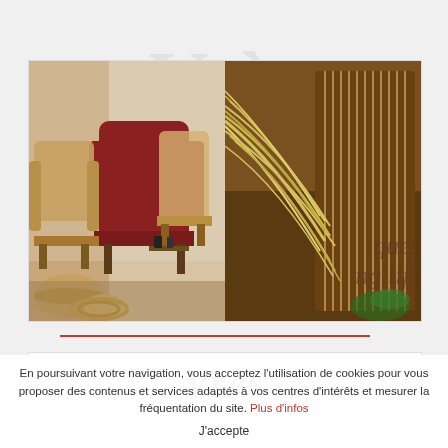[Figure (photo): Two side-by-side photos: left shows antique chairs, baskets and wicker items in an interior scene; right shows woven reed/straw material on a wooden frame, craft/weaving scene. Partial overlay text visible: 'ques' and 'ng lif']
[Figure (photo): Partial view of a second content block showing handwritten-style text beginning with cursive letters resembling 'Vrès' or similar]
En poursuivant votre navigation, vous acceptez l'utilisation de cookies pour vous proposer des contenus et services adaptés à vos centres d'intérêts et mesurer la fréquentation du site. Plus d'infos
J'accepte